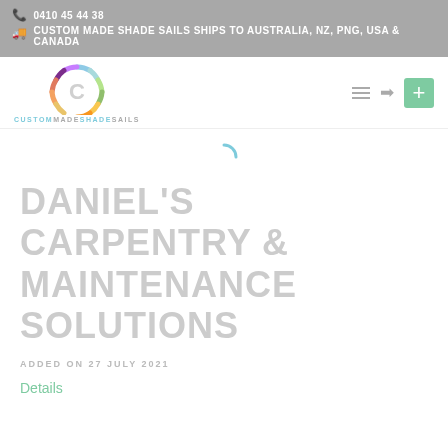0410 45 44 38
CUSTOM MADE SHADE SAILS SHIPS TO AUSTRALIA, NZ, PNG, USA & CANADA
[Figure (logo): Custom Made Shade Sails logo: colorful segmented ring with a C shape in center, text CUSTOMMADESHADESAILS below]
DANIEL'S CARPENTRY & MAINTENANCE SOLUTIONS
ADDED ON 27 JULY 2021
Details